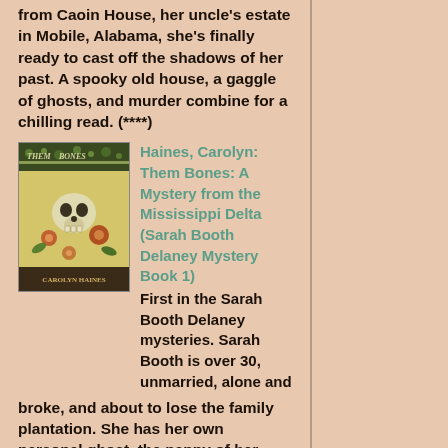from Caoin House, her uncle's estate in Mobile, Alabama, she's finally ready to cast off the shadows of her past. A spooky old house, a gaggle of ghosts, and murder combine for a chilling read. (****)
[Figure (photo): Book cover of 'Them Bones' by Carolyn Haines, showing a skull with flowers on a yellow/gold background with dark top and bottom bands.]
Haines, Carolyn: Them Bones: A Mystery from the Mississippi Delta (Sarah Booth Delaney Mystery Book 1) First in the Sarah Booth Delaney mysteries. Sarah Booth is over 30, unmarried, alone and broke, and about to lose the family plantation. She has her own personal ghost, the nanny of her great great grandmother. When kidnapping her friend's doggie Chablis with plans exchange her for ransom falls through, Chablis's owner hired Sarah Booth to